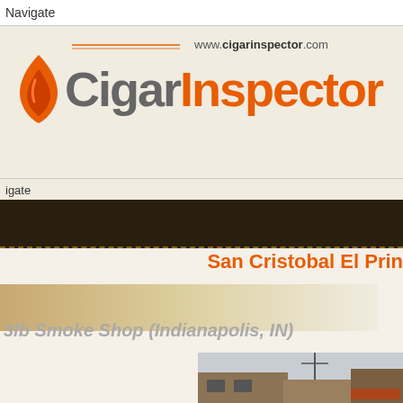Navigate
[Figure (logo): Cigar Inspector logo with flame icon and URL www.cigarinspector.com]
igate
San Cristobal El Prin
[Figure (photo): Photo of a smoke shop building exterior]
3lb Smoke Shop (Indianapolis, IN)